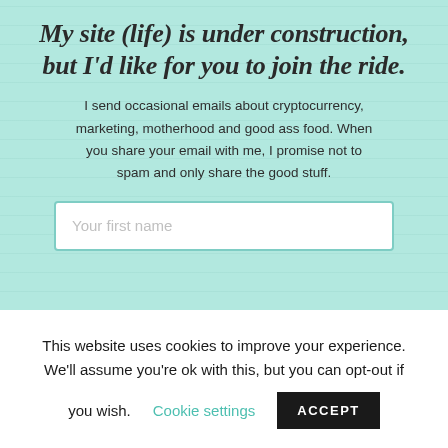My site (life) is under construction, but I'd like for you to join the ride.
I send occasional emails about cryptocurrency, marketing, motherhood and good ass food. When you share your email with me, I promise not to spam and only share the good stuff.
Your first name
This website uses cookies to improve your experience. We'll assume you're ok with this, but you can opt-out if you wish. Cookie settings ACCEPT